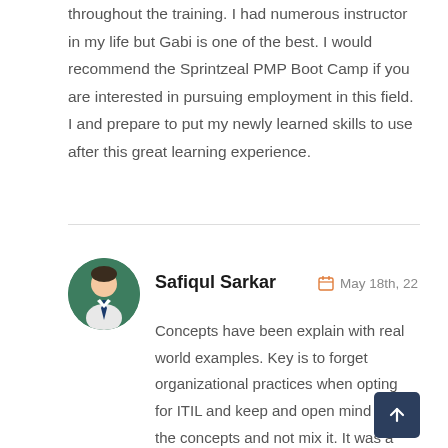throughout the training. I had numerous instructor in my life but Gabi is one of the best. I would recommend the Sprintzeal PMP Boot Camp if you are interested in pursuing employment in this field. I and prepare to put my newly learned skills to use after this great learning experience.
Safiqul Sarkar
May 18th, 22
[Figure (illustration): Avatar of a person with dark hair and tie on green circular background]
Concepts have been explain with real world examples. Key is to forget organizational practices when opting for ITIL and keep and open mind about the concepts and not mix it. It was a great  learning experience